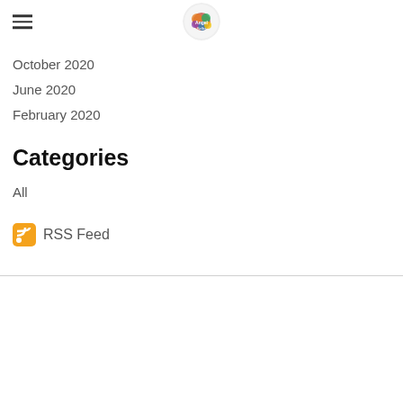[hamburger menu + logo]
October 2020
June 2020
February 2020
Categories
All
RSS Feed